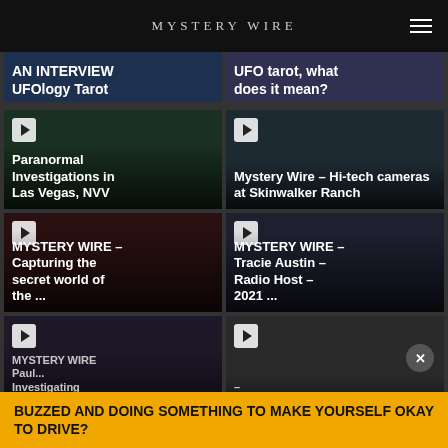MYSTERY WIRE
[Figure (screenshot): Video thumbnail card: AN INTERVIEW UFOlogy Tarot]
[Figure (screenshot): Video thumbnail card: UFO tarot, what does it mean?]
[Figure (screenshot): Video thumbnail card: Paranormal Investigations in Las Vegas, NVV]
[Figure (screenshot): Video thumbnail card: Mystery Wire – Hi-tech cameras at Skinwalker Ranch]
[Figure (screenshot): Video thumbnail card: MYSTERY WIRE – Capturing the secret world of the ...]
[Figure (screenshot): Video thumbnail card: MYSTERY WIRE – Tracie Austin – Radio Host – 2021 ...]
[Figure (screenshot): Video thumbnail card: MYSTERY WIRE Paul... Investigating UFOs (partial)]
[Figure (screenshot): Video thumbnail card: Spooky Babes (partial)]
BUZZED AND DOING SOMETHING TO MAKE YOURSELF OKAY TO DRIVE?